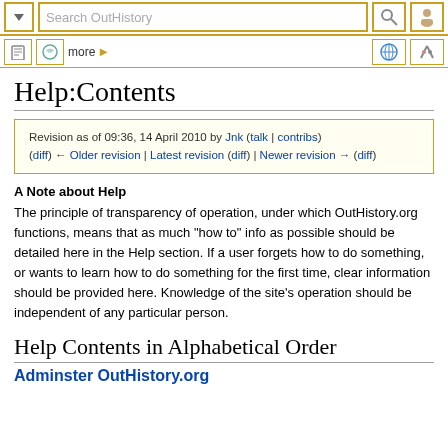[Figure (screenshot): Top navigation bar with dropdown arrow button, search box labeled 'Search OutHistory', search icon button, and user icon button, all bordered in gold/yellow]
[Figure (screenshot): Second navigation bar with page icon, talk/discussion icon, 'more' text with arrow, globe icon, and tools/wrench icon]
Help:Contents
Revision as of 09:36, 14 April 2010 by Jnk (talk | contribs)
(diff) ← Older revision | Latest revision (diff) | Newer revision → (diff)
A Note about Help
The principle of transparency of operation, under which OutHistory.org functions, means that as much "how to" info as possible should be detailed here in the Help section. If a user forgets how to do something, or wants to learn how to do something for the first time, clear information should be provided here. Knowledge of the site's operation should be independent of any particular person.
Help Contents in Alphabetical Order
Adminster OutHistory.org